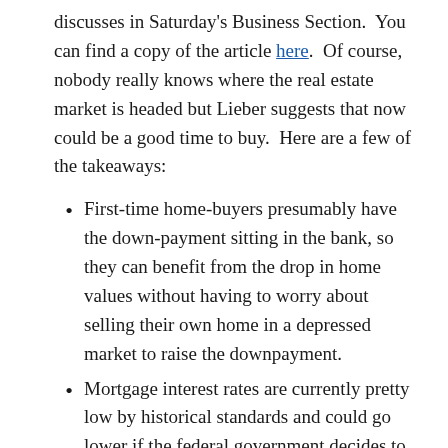discusses in Saturday's Business Section. You can find a copy of the article here. Of course, nobody really knows where the real estate market is headed but Lieber suggests that now could be a good time to buy. Here are a few of the takeaways:
First-time home-buyers presumably have the down-payment sitting in the bank, so they can benefit from the drop in home values without having to worry about selling their own home in a depressed market to raise the downpayment.
Mortgage interest rates are currently pretty low by historical standards and could go lower if the federal government decides to try to drive them lower. If you can lock in a low rate for 30 years, that seems pretty smart.
The best deals may be in “new” housing, where developers are desperate to get out from under